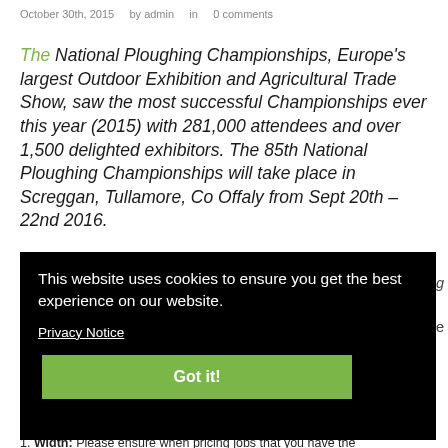October 30th, 2015    by admin    in    0 comments
The National Ploughing Championships, Europe's largest Outdoor Exhibition and Agricultural Trade Show, saw the most successful Championships ever this year (2015) with 281,000 attendees and over 1,500 delighted exhibitors. The 85th National Ploughing Championships will take place in Screggan, Tullamore, Co Offaly from Sept 20th – 22nd 2016.
This website uses cookies to ensure you get the best experience on our website.
Privacy Notice
Got it!
1. Width: Please ensure when pricing jobs that you have the